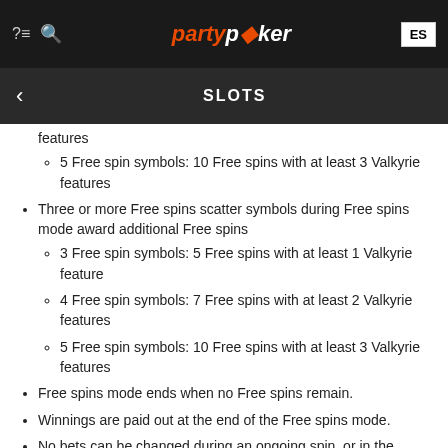partypoker SLOTS ES
features
5 Free spin symbols: 10 Free spins with at least 3 Valkyrie features
Three or more Free spins scatter symbols during Free spins mode award additional Free spins
3 Free spin symbols: 5 Free spins with at least 1 Valkyrie feature
4 Free spin symbols: 7 Free spins with at least 2 Valkyrie features
5 Free spin symbols: 10 Free spins with at least 3 Valkyrie features
Free spins mode ends when no Free spins remain.
Winnings are paid out at the end of the Free spins mode.
No bets can be changed during an ongoing spin, or in the Bonus